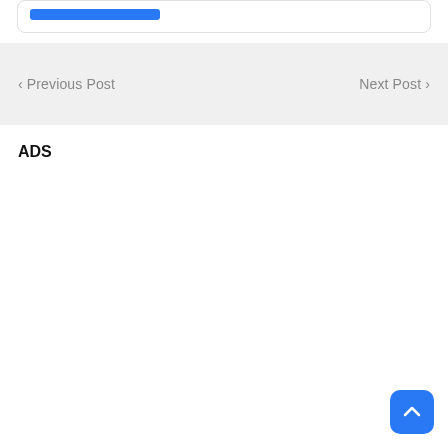[Figure (other): Top white card with a blue button/bar element partially visible at the top of the page]
‹ Previous Post
Next Post ›
ADS
[Figure (other): Blue rounded square back-to-top button with upward chevron arrow in the bottom right corner]